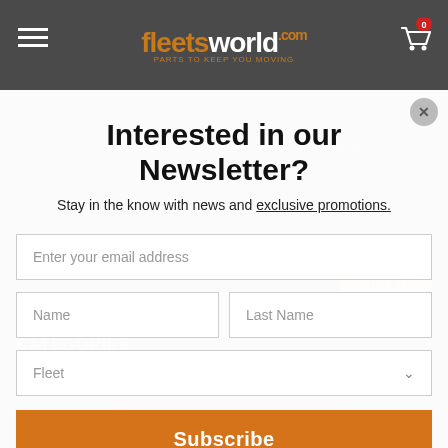fleetsworld.com — PARTS TO KEEP YOU MOVING
Interested in our Newsletter?
Stay in the know with news and exclusive promotions.
Enter your email address
Name
Last Name
Fleet
Subscribe
CATEGORIES
FURTHER INFO.
ADD TO CART